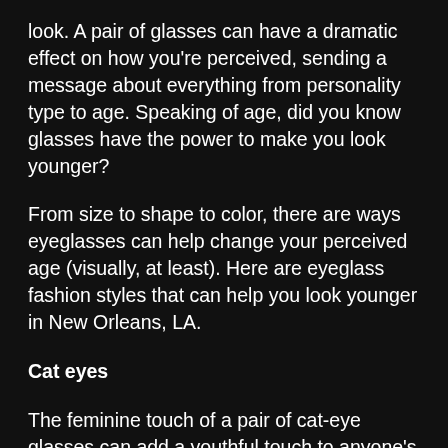look. A pair of glasses can have a dramatic effect on how you're perceived, sending a message about everything from personality type to age. Speaking of age, did you know glasses have the power to make you look younger?
From size to shape to color, there are ways eyeglasses can help change your perceived age (visually, at least). Here are eyeglass fashion styles that can help you look younger in New Orleans, LA.
Cat eyes
The feminine touch of a pair of cat-eye glasses can add a youthful touch to anyone's face, regardless of gender. This style looks particularly flattering on round-shaped faces with supportive cheeks.